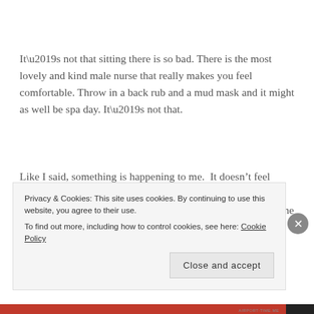It’s not that sitting there is so bad. There is the most lovely and kind male nurse that really makes you feel comfortable. Throw in a back rub and a mud mask and it might as well be spa day. It’s not that.
Like I said, something is happening to me.  It doesn’t feel good to be in my skin and I can’t escape it. There is no reference point, no status quo for me to stop and rest… like the inhale keeps, keeps, keeps, and then I have no idea where to land. And when I’m too tired to pursue my assorted
Privacy & Cookies: This site uses cookies. By continuing to use this website, you agree to their use.
To find out more, including how to control cookies, see here: Cookie Policy
Close and accept